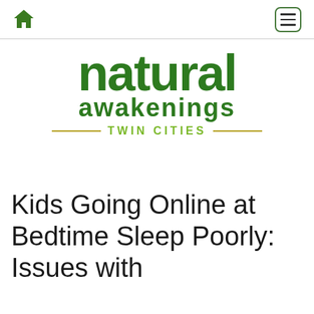Natural Awakenings Twin Cities — navigation bar with home icon and menu button
[Figure (logo): Natural Awakenings Twin Cities logo — green bold text 'natural' large, 'awakenings' below, 'TWIN CITIES' with decorative lines]
Kids Going Online at Bedtime Sleep Poorly: Issues with